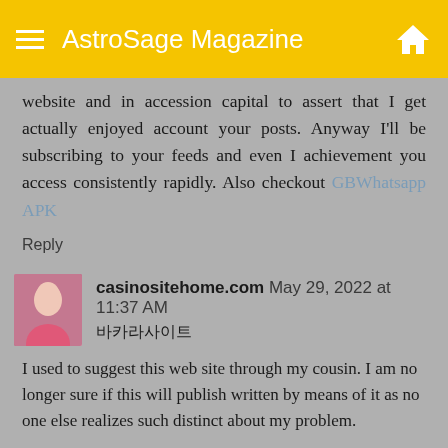AstroSage Magazine
website and in accession capital to assert that I get actually enjoyed account your posts. Anyway I'll be subscribing to your feeds and even I achievement you access consistently rapidly. Also checkout GBWhatsapp APK
Reply
casinositehome.com  May 29, 2022 at 11:37 AM
바카라사이트
I used to suggest this web site through my cousin. I am no longer sure if this will publish written by means of it as no one else realizes such distinct about my problem.
You are awesome! Thank you !
Reply